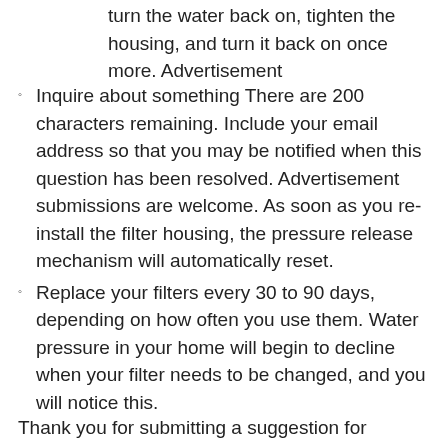turn the water back on, tighten the housing, and turn it back on once more. Advertisement
Inquire about something There are 200 characters remaining. Include your email address so that you may be notified when this question has been resolved. Advertisement submissions are welcome. As soon as you re-install the filter housing, the pressure release mechanism will automatically reset.
Replace your filters every 30 to 90 days, depending on how often you use them. Water pressure in your home will begin to decline when your filter needs to be changed, and you will notice this.
Thank you for submitting a suggestion for